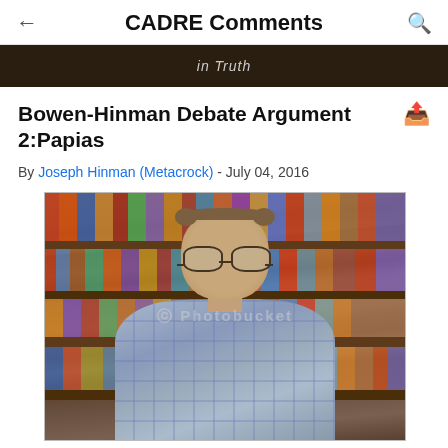CADRE Comments
[Figure (photo): Banner image showing text 'in Truth' over a dark background with a vintage illustration]
Bowen-Hinman Debate Argument 2:Papias
By Joseph Hinman (Metacrock) - July 04, 2016
[Figure (photo): Photograph of Professor Richard Bauckham standing in front of a bookshelf, wearing glasses and a plaid shirt. A Photobucket watermark is visible on the image.]
Professor Richard Bauckham